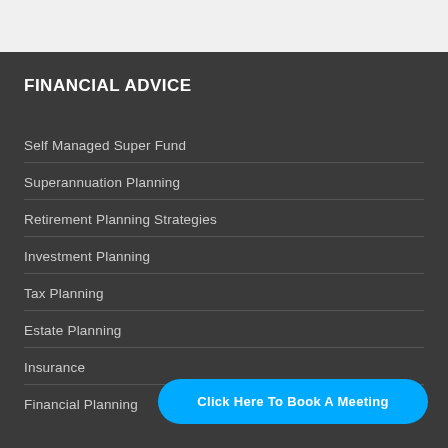FINANCIAL ADVICE
Self Managed Super Fund
Superannuation Planning
Retirement Planning Strategies
Investment Planning
Tax Planning
Estate Planning
Insurance
Financial Planning
Click Here To Book A Meeting